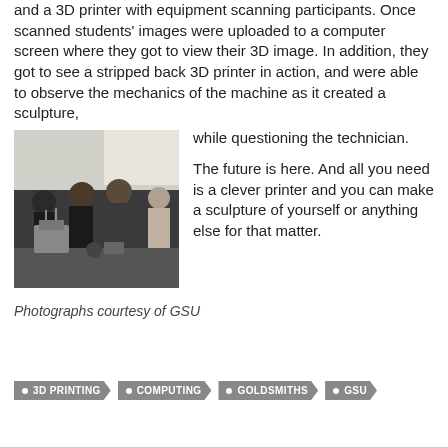and a 3D printer with equipment scanning participants. Once scanned students' images were uploaded to a computer screen where they got to view their 3D image. In addition, they got to see a stripped back 3D printer in action, and were able to observe the mechanics of the machine as it created a sculpture, while questioning the technician.

The future is here. And all you need is a clever printer and you can make a sculpture of yourself or anything else for that matter.
[Figure (photo): Group of students gathered around a table with a 3D printer, examining the machine.]
Photographs courtesy of GSU
• 3D PRINTING  • COMPUTING  • GOLDSMITHS  • GSU